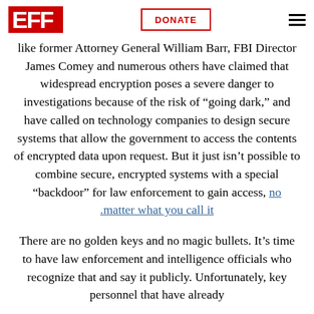has paid lip service to “cybersecurity,” while failing to make things more secure. Officials
[Figure (logo): EFF (Electronic Frontier Foundation) red block logo]
DONATE button
like former Attorney General William Barr, FBI Director James Comey and numerous others have claimed that widespread encryption poses a severe danger to investigations because of the risk of “going dark,” and have called on technology companies to design secure systems that allow the government to access the contents of encrypted data upon request. But it just isn’t possible to combine secure, encrypted systems with a special “backdoor” for law enforcement to gain access, no matter what you call it.
There are no golden keys and no magic bullets. It’s time to have law enforcement and intelligence officials who recognize that and say it publicly. Unfortunately, key personnel that have already